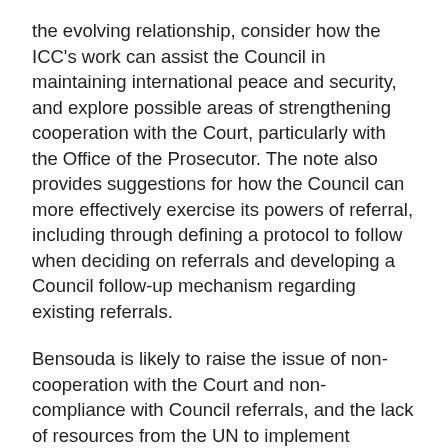the evolving relationship, consider how the ICC's work can assist the Council in maintaining international peace and security, and explore possible areas of strengthening cooperation with the Court, particularly with the Office of the Prosecutor. The note also provides suggestions for how the Council can more effectively exercise its powers of referral, including through defining a protocol to follow when deciding on referrals and developing a Council follow-up mechanism regarding existing referrals.
Bensouda is likely to raise the issue of non-cooperation with the Court and non-compliance with Council referrals, and the lack of resources from the UN to implement referrals, as she has done repeatedly in her semi-annual briefings to the Council on Sudan and Libya, most recently on 9 May (S/PV.8250). At the same time, both she and Mathias are expected to highlight positive examples of UN-ICC cooperation under the Relationship Agreement between the UN and